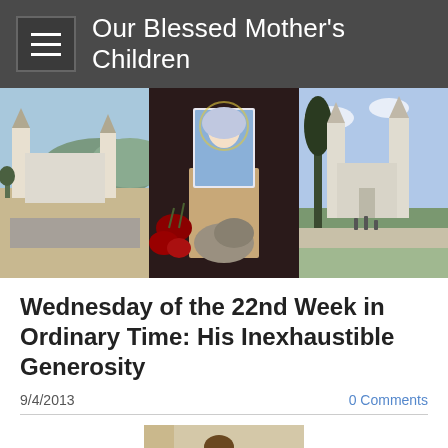Our Blessed Mother's Children
[Figure (photo): Three-panel banner showing religious site photos: aerial view of a church complex with crowds, a person holding an image of the Virgin Mary with flowers, and a view of the same church from ground level]
Wednesday of the 22nd Week in Ordinary Time: His Inexhaustible Generosity
9/4/2013
0 Comments
[Figure (illustration): Religious illustration depicting Jesus and a woman, possibly showing a healing or blessing scene with other figures present]